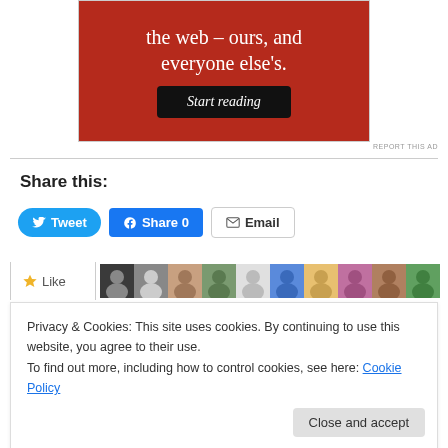[Figure (screenshot): Red advertisement banner with white serif text reading 'the web – ours, and everyone else's.' and a black 'Start reading' button]
REPORT THIS AD
Share this:
[Figure (screenshot): Three social sharing buttons: Tweet (Twitter/blue rounded), Share 0 (Facebook/blue), Email (grey outlined)]
[Figure (screenshot): Like button and row of user avatar thumbnails]
Privacy & Cookies: This site uses cookies. By continuing to use this website, you agree to their use.
To find out more, including how to control cookies, see here: Cookie Policy
Close and accept